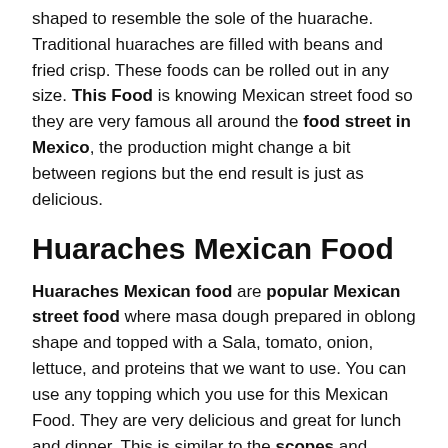shaped to resemble the sole of the huarache. Traditional huaraches are filled with beans and fried crisp. These foods can be rolled out in any size. This Food is knowing Mexican street food so they are very famous all around the food street in Mexico, the production might change a bit between regions but the end result is just as delicious.
Huaraches Mexican Food
Huaraches Mexican food are popular Mexican street food where masa dough prepared in oblong shape and topped with a Sala, tomato, onion, lettuce, and proteins that we want to use. You can use any topping which you use for this Mexican Food. They are very delicious and great for lunch and dinner. This is similar to the scopes and tlacoyos but different in shape.